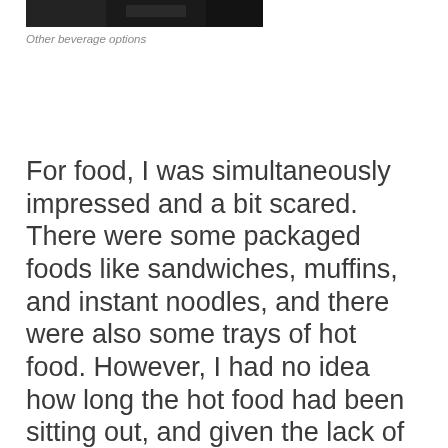[Figure (photo): Partial view of beverage options at a lounge — dark/blurry cropped image at top of page]
Other beverage options
For food, I was simultaneously impressed and a bit scared. There were some packaged foods like sandwiches, muffins, and instant noodles, and there were also some trays of hot food. However, I had no idea how long the hot food had been sitting out, and given the lack of passengers in the lounge, I can't imagine that there's much turnover of the hot food. So I would say eat at your own risk.